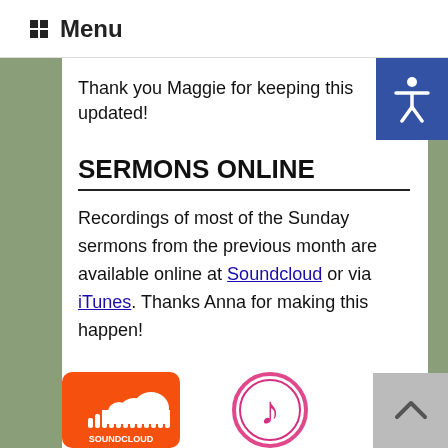Menu
Thank you Maggie for keeping this updated!
SERMONS ONLINE
Recordings of most of the Sunday sermons from the previous month are available online at Soundcloud or via iTunes. Thanks Anna for making this happen!
[Figure (logo): SoundCloud logo — orange square with cloud and audio waveform bars]
[Figure (logo): iTunes logo — circular pink/red music note icon]